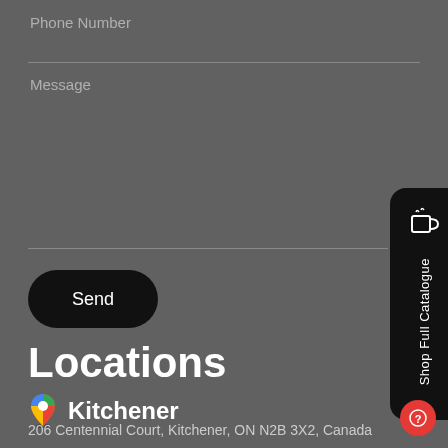Phone Number
Message
Send
Locations
Kitchener
206 Centennial Court, Kitchener, ON N2B 3X2, Canada
Shop Full Catalogue